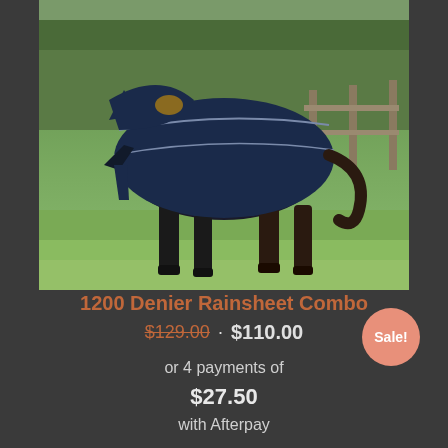[Figure (photo): A horse wearing a navy blue 1200 denier rainsheet combo rug, standing on green grass with trees and wooden fence posts in the background.]
1200 Denier Rainsheet Combo
$129.00 · $110.00
or 4 payments of $27.50 with Afterpay
Sale!